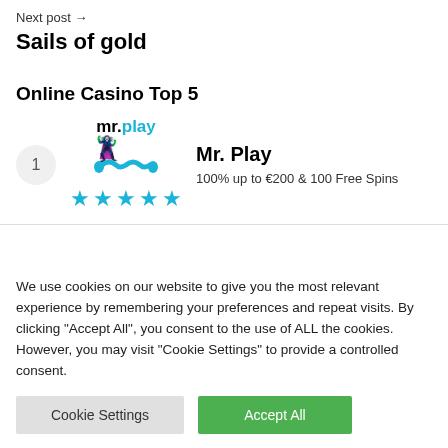Next post →
Sails of gold
Online Casino Top 5
[Figure (infographic): Casino listing card: rank 1, mr.play logo with mustache icon, 5 blue stars, Mr. Play name, bonus text '100% up to €200 & 100 Free Spins']
We use cookies on our website to give you the most relevant experience by remembering your preferences and repeat visits. By clicking "Accept All", you consent to the use of ALL the cookies. However, you may visit "Cookie Settings" to provide a controlled consent.